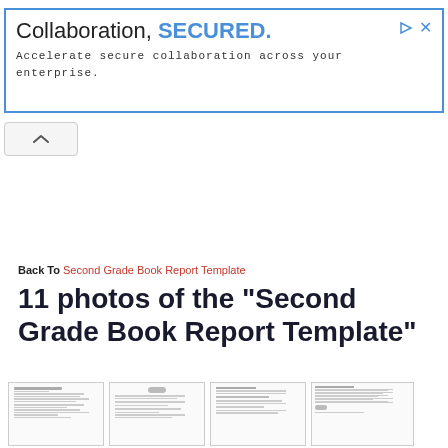[Figure (other): Advertisement banner with blue border. Text: 'Collaboration, SECURED.' and 'Accelerate secure collaboration across your enterprise.' with play and close icons top right.]
Back To Second Grade Book Report Template
11 photos of the "Second Grade Book Report Template"
[Figure (other): Four thumbnail previews of Second Grade Book Report Template document pages shown side by side at the bottom of the page.]